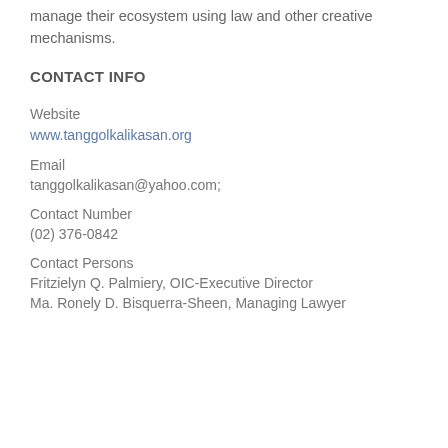manage their ecosystem using law and other creative mechanisms.
CONTACT INFO
Website
www.tanggolkalikasan.org
Email
tanggolkalikasan@yahoo.com;
Contact Number
(02) 376-0842
Contact Persons
Fritzielyn Q. Palmiery, OIC-Executive Director
Ma. Ronely D. Bisquerra-Sheen, Managing Lawyer